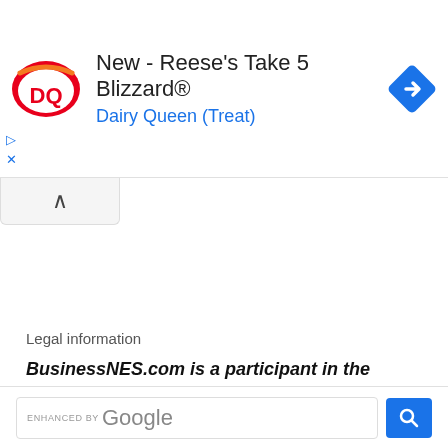[Figure (screenshot): Dairy Queen advertisement banner showing DQ logo, text 'New - Reese's Take 5 Blizzard® Dairy Queen (Treat)', and a blue navigation arrow icon]
Legal information
BusinessNES.com is a participant in the Amazon Services LLC Associates Program, an affiliate advertising program designed to provide a means for sites to earn advertising fees by advertising and linking to Amazon.com
[Figure (screenshot): Google search bar with 'ENHANCED BY Google' label and blue search button]